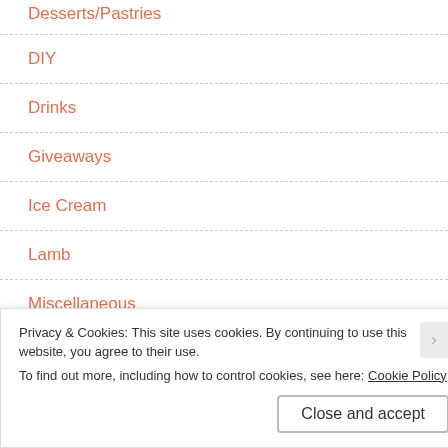Desserts/Pastries
DIY
Drinks
Giveaways
Ice Cream
Lamb
Miscellaneous
Pastas/Noodles
Privacy & Cookies: This site uses cookies. By continuing to use this website, you agree to their use.
To find out more, including how to control cookies, see here: Cookie Policy
Close and accept